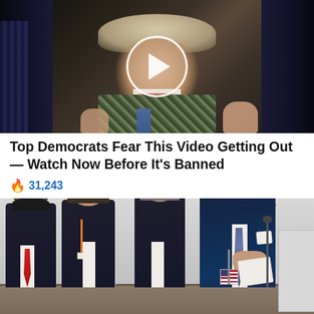[Figure (photo): Photo of a woman laughing/smiling with a play button overlay circle in the center, dark background with suited figures to the sides]
Top Democrats Fear This Video Getting Out — Watch Now Before It's Banned
🔥 31,243
[Figure (photo): Photo of Biden at a G7 Germany conference table looking down at papers/flag, with several other officials seated to his left smiling]